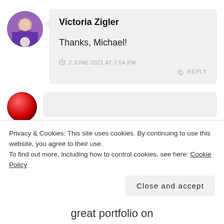[Figure (photo): Circular avatar photo of a person in purple clothing sitting outdoors]
Victoria Zigler
Thanks, Michael!
2 JUNE 2021 AT 7:54 PM
REPLY
[Figure (photo): Circular red button avatar icon]
Privacy & Cookies: This site uses cookies. By continuing to use this website, you agree to their use.
To find out more, including how to control cookies, see here: Cookie Policy
Close and accept
great portfolio on